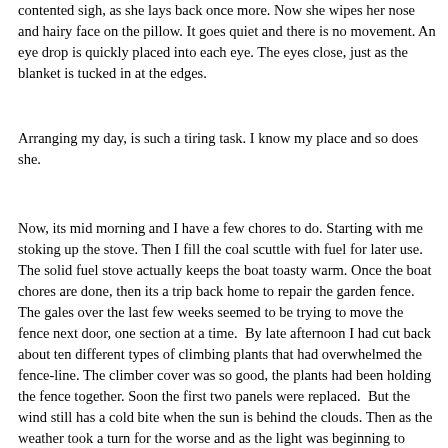contented sigh, as she lays back once more. Now she wipes her nose and hairy face on the pillow. It goes quiet and there is no movement. An eye drop is quickly placed into each eye. The eyes close, just as the blanket is tucked in at the edges.
Arranging my day, is such a tiring task. I know my place and so does she.
Now, its mid morning and I have a few chores to do. Starting with me stoking up the stove. Then I fill the coal scuttle with fuel for later use. The solid fuel stove actually keeps the boat toasty warm. Once the boat chores are done, then its a trip back home to repair the garden fence. The gales over the last few weeks seemed to be trying to move the fence next door, one section at a time.  By late afternoon I had cut back about ten different types of climbing plants that had overwhelmed the fence-line. The climber cover was so good, the plants had been holding the fence together. Soon the first two panels were replaced.  But the wind still has a cold bite when the sun is behind the clouds. Then as the weather took a turn for the worse and as the light was beginning to fade, it was time to pack up the tools for the day. I returned back to the